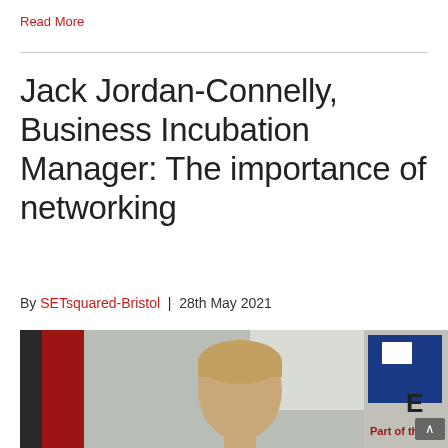Read More
Jack Jordan-Connelly, Business Incubation Manager: The importance of networking
By SETsquared-Bristol | 28th May 2021
[Figure (photo): Photo of Jack Jordan-Connelly in front of a SETsquared Bristol sign, with a red door visible on the left and a blue sign reading 'Part of the' on the right.]